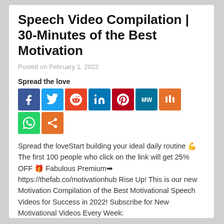Speech Video Compilation | 30-Minutes of the Best Motivation
Posted on February 1, 2022
Spread the love
[Figure (infographic): Social media share buttons: Facebook, Twitter, Reddit, LinkedIn, Pinterest, MeWe, Mix, WhatsApp, Share]
Spread the loveStart building your ideal daily routine 💪 The first 100 people who click on the link will get 25% OFF 🎁 Fabulous Premium➡ https://thefab.co/motivationhub Rise Up! This is our new Motivation Compilation of the Best Motivational Speech Videos for Success in 2022! Subscribe for New Motivational Videos Every Week: http://bit.ly/SubscribeHub This video is sponsored by...